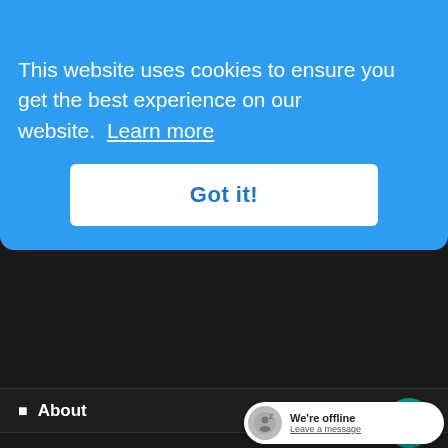https://travel.state.gov/content/travel.html for up-to-date information and guidelines.
This website uses cookies to ensure you get the best experience on our website. Learn more
Got it!
About
Claims
Our Company
Agents
Privacy Policy
Terms of Use
Important Information
We're offline  Leave a message